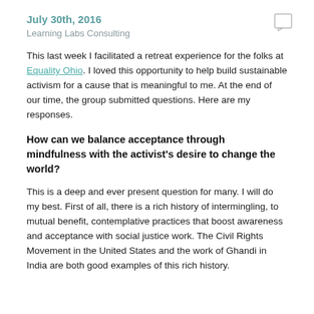July 30th, 2016
Learning Labs Consulting
This last week I facilitated a retreat experience for the folks at Equality Ohio.  I loved this opportunity to help build sustainable activism for a cause that is meaningful to me.  At the end of our time, the group submitted questions.  Here are my responses.
How can we balance acceptance through mindfulness with the activist's desire to change the world?
This is a deep and ever present question for many.  I will do my best.  First of all, there is a rich history of intermingling, to mutual benefit, contemplative practices that boost awareness and acceptance with social justice work.  The Civil Rights Movement in the United States and the work of Ghandi in India are both good examples of this rich history.